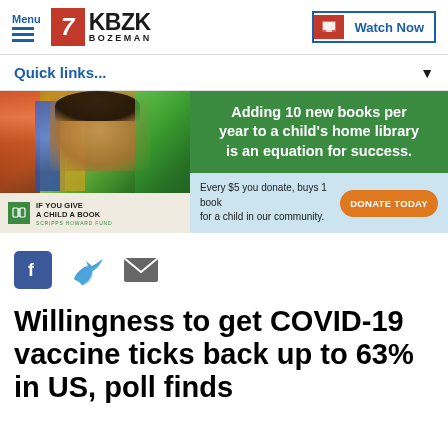Menu | 7 KBZK BOZEMAN | Watch Now
Quick links...
[Figure (infographic): Advertisement banner for Scripps Howard Fund 'If You Give a Child a Book' campaign. Shows a child with books on the left, green section with text 'Adding 10 new books per year to a child's home library is an equation for success.' and light blue section with 'Every $5 you donate, buys 1 book for a child in our community.' and an orange DONATE TODAY button.]
[Figure (infographic): Social media sharing icons: Facebook (blue square with f), Twitter (blue bird), and email (grey envelope)]
Willingness to get COVID-19 vaccine ticks back up to 63% in US, poll finds